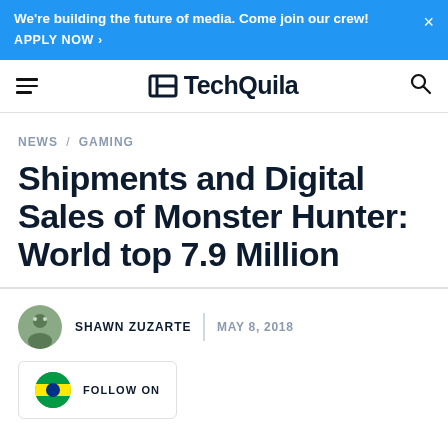We're building the future of media. Come join our crew! APPLY NOW >
TechQuila
NEWS / GAMING
Shipments and Digital Sales of Monster Hunter: World top 7.9 Million
SHAWN ZUZARTE | MAY 8, 2018
FOLLOW ON